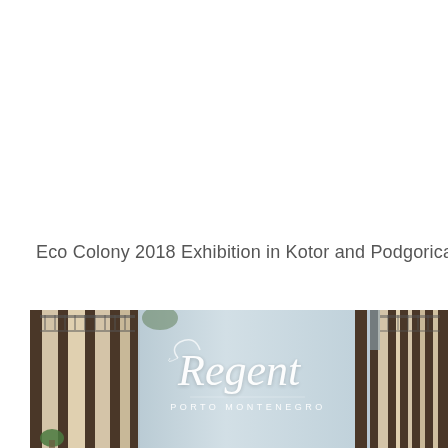Eco Colony 2018 Exhibition in Kotor and Podgorica
[Figure (photo): Photo of a luxury hotel/resort entrance showing glass doors and a frosted panel with the 'Regent Porto Montenegro' logo in white script, with a balcony and building facade visible in the background.]